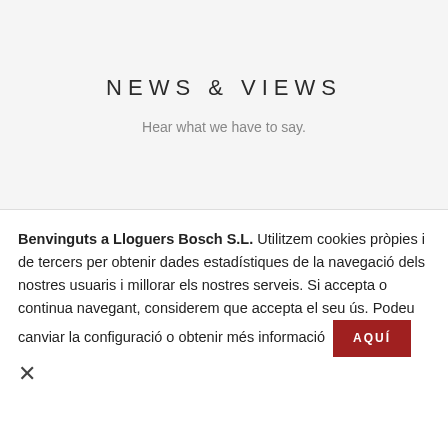NEWS & VIEWS
Hear what we have to say.
Benvinguts a Lloguers Bosch S.L. Utilitzem cookies pròpies i de tercers per obtenir dades estadístiques de la navegació dels nostres usuaris i millorar els nostres serveis. Si accepta o continua navegant, considerem que accepta el seu ús. Podeu canviar la configuració o obtenir més informació AQUÍ